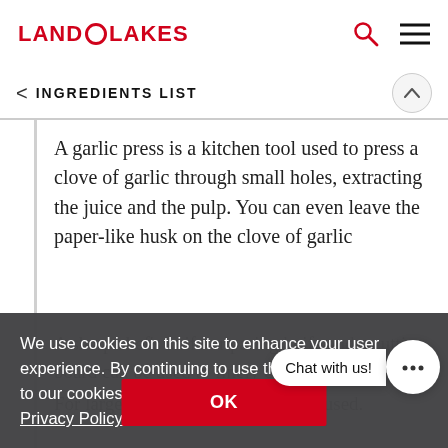LAND O LAKES
INGREDIENTS LIST
A garlic press is a kitchen tool used to press a clove of garlic through small holes, extracting the juice and the pulp. You can even leave the paper-like husk on the clove of garlic
A sharp chef's knife or paring knife and a cutting board can be used to finely cho...
For large qua... od chopper com be used.
We use cookies on this site to enhance your user experience. By continuing to use this site, you consent to our cookies as described in our Privacy Policy.
OK